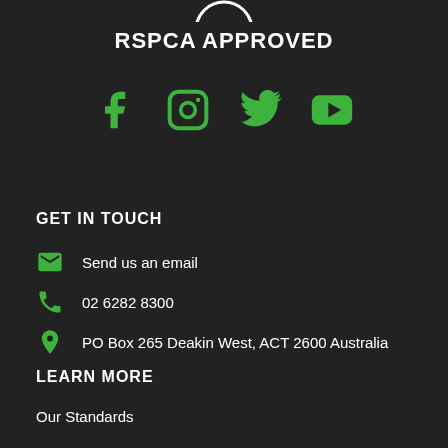[Figure (logo): RSPCA Approved logo mark at top center (partial, circular badge)]
RSPCA APPROVED
[Figure (infographic): Four social media icons in green: Facebook, Instagram, Twitter, YouTube]
GET IN TOUCH
Send us an email
02 6282 8300
PO Box 265 Deakin West, ACT 2600 Australia
LEARN MORE
Our Standards